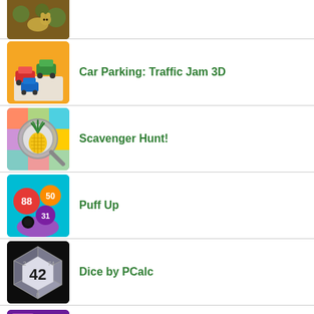[Figure (screenshot): Partial app icon at top, jungle/animal theme with brown/green colors]
Car Parking: Traffic Jam 3D
Scavenger Hunt!
Puff Up
Dice by PCalc
Ten Crush